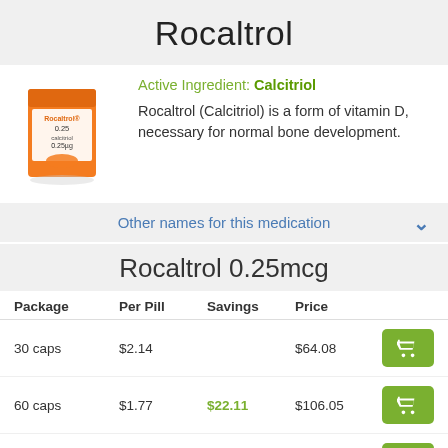Rocaltrol
[Figure (photo): Box of Rocaltrol 0.25 mcg capsules, orange packaging]
Active Ingredient: Calcitriol
Rocaltrol (Calcitriol) is a form of vitamin D, necessary for normal bone development.
Other names for this medication
Rocaltrol 0.25mcg
| Package | Per Pill | Savings | Price |  |
| --- | --- | --- | --- | --- |
| 30 caps | $2.14 |  | $64.08 | Buy |
| 60 caps | $1.77 | $22.11 | $106.05 | Buy |
| 90 caps | $1.64 | $44.22 | $148.02 | Buy |